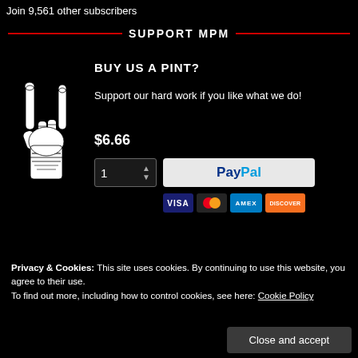Join 9,561 other subscribers
SUPPORT MPM
BUY US A PINT?
[Figure (illustration): Black and white illustration of a hand making the rock/metal 'horns' gesture]
Support our hard work if you like what we do!
$6.66
1 (quantity selector) PayPal button with Visa, Mastercard, AMEX, Discover card icons
Privacy & Cookies: This site uses cookies. By continuing to use this website, you agree to their use.
To find out more, including how to control cookies, see here: Cookie Policy
Close and accept